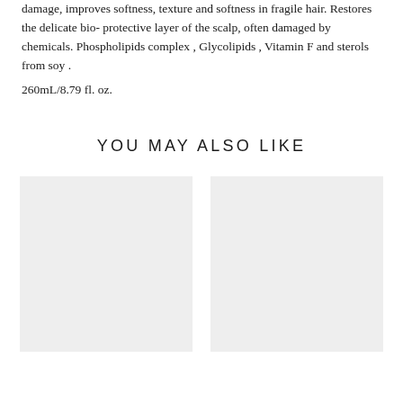damage, improves softness, texture and softness in fragile hair. Restores the delicate bio- protective layer of the scalp, often damaged by chemicals. Phospholipids complex , Glycolipids , Vitamin F and sterols from soy .
260mL/8.79 fl. oz.
YOU MAY ALSO LIKE
[Figure (photo): Product image placeholder, light gray rectangle]
[Figure (photo): Product image placeholder, light gray rectangle]